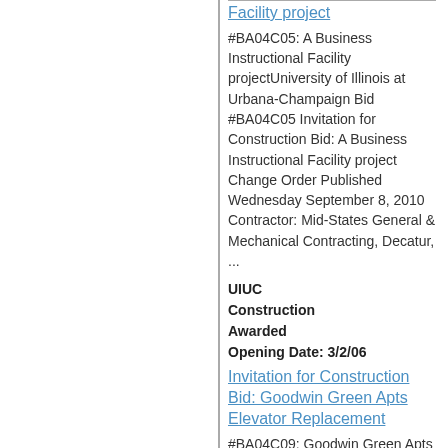Facility project
#BA04C05: A Business Instructional Facility projectUniversity of Illinois at Urbana-Champaign Bid #BA04C05 Invitation for Construction Bid: A Business Instructional Facility project Change Order Published Wednesday September 8, 2010 Contractor: Mid-States General & Mechanical Contracting, Decatur, ...
UIUC Construction Awarded Opening Date: 3/2/06
Invitation for Construction Bid: Goodwin Green Apts Elevator Replacement
#BA04C09: Goodwin Green Apts Elevator ReplacementUniversity of Illinois at Urbana-Champaign Bid #BA04C09 Invitation for Construction Bid: Goodwin Green Apts...